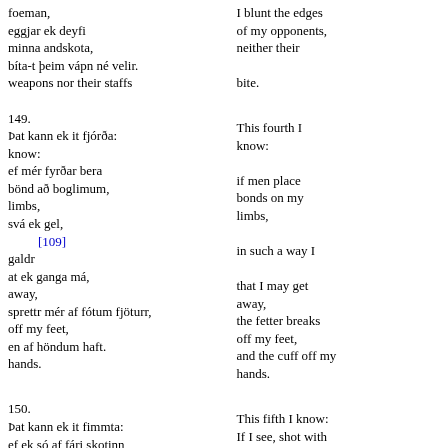foeman,
eggjar ek deyfi
minna andskota,
bíta-t þeim vápn né velir.
weapons nor their staffs
I blunt the edges
of my opponents,
neither their

bite.
149.
Þat kann ek it fjórða: know:
ef mér fyrðar bera
bönd að boglimum, limbs,
svá ek gel, [109] galdr
at ek ganga má, away,
sprettr mér af fótum fjöturr, off my feet,
en af höndum haft. hands.
This fourth I know:
if men place
bonds on my limbs,
in such a way I
that I may get away,
the fetter breaks off my feet,
and the cuff off my hands.
150.
Þat kann ek it fimmta:
ef ek só af fári skotinn
This fifth I know:
If I see, shot with